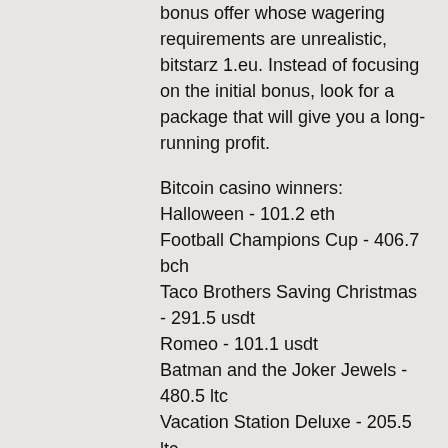bonus offer whose wagering requirements are unrealistic, bitstarz 1.eu. Instead of focusing on the initial bonus, look for a package that will give you a long-running profit.
Bitcoin casino winners:
Halloween - 101.2 eth
Football Champions Cup - 406.7 bch
Taco Brothers Saving Christmas - 291.5 usdt
Romeo - 101.1 usdt
Batman and the Joker Jewels - 480.5 ltc
Vacation Station Deluxe - 205.5 ltc
World of Oz - 747.8 ltc
Grandma's Attic - 554 dog
Samba Brazil - 563.4 ltc
KTV - 562.1 bch
Green Grocery - 374.7 usdt
Aztec Gold - 79.5 usdt
Jacks Pot - 72.8 dog
Super 10 Stars - 55.9 bch
Moonshiner's Moolah - 326.5 eth